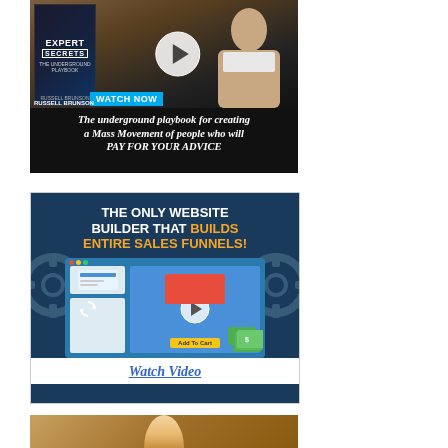[Figure (advertisement): Expert Secrets book ad by Russell Brunson with a 'WATCH NOW' button. Text reads: 'The underground playbook for creating a Mass Movement of people who will PAY FOR YOUR ADVICE']
[Figure (advertisement): Website builder ad: 'THE ONLY WEBSITE BUILDER THAT BUILDS ENTIRE SALES FUNNELS!' with a screenshot of a funnel builder and 'Watch Video' link]
[Figure (advertisement): Partially visible third advertisement with warm golden/brown background, bottom portion cut off]